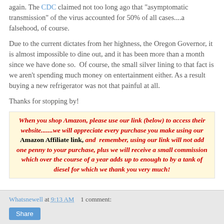again. The CDC claimed not too long ago that "asymptomatic transmission" of the virus accounted for 50% of all cases....a falsehood, of course.
Due to the current dictates from her highness, the Oregon Governor, it is almost impossible to dine out, and it has been more than a month since we have done so.  Of course, the small silver lining to that fact is we aren't spending much money on entertainment either. As a result buying a new refrigerator was not that painful at all.
Thanks for stopping by!
When you shop Amazon, please use our link (below) to access their website.......we will appreciate every purchase you make using our Amazon Affiliate link, and remember, using our link will not add one penny to your purchase, plus we will receive a small commission which over the course of a year adds up to enough to by a tank of diesel for which we thank you very much!
Whatsnewell at 9:13 AM   1 comment: